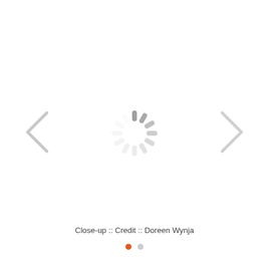[Figure (other): Loading spinner (circular activity indicator) centered on a white background, rendered in gray]
Close-up :: Credit :: Doreen Wynja
[Figure (other): Pagination dots: one filled orange dot and one empty gray dot, indicating slide 1 of 2]